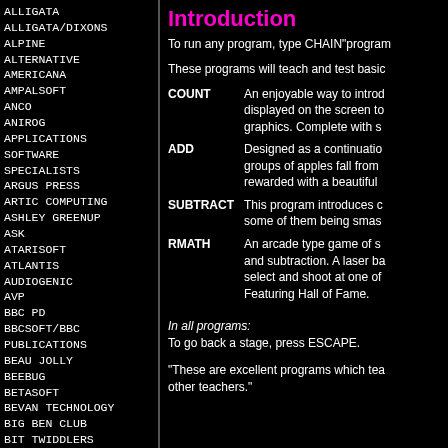ALLIGATA
ALLIGATA/DIXONS
ALPINE
ALTERNATIVE
AMERICANA
AMPALSOFT
ANCO
ANIROG
APPLICATIONS SOFTWARE
SPECIALISTS
ARGUS PRESS
ARTIC COMPUTING
ASHLEY GREENUP
ASK
ATARISOFT
ATLANTIS
AUDIOGENIC
AVP
BBC PD
BBCSOFT/BBC PUBLICATIONS
BEAU JOLLY
BEEBUG
BETASOFT
BEVAN TECHNOLOGY
BIG BEN CLUB
BIT TWIDDLERS
BLUE RIBBON
BOURNE
Introduction
To run any program, type CHAIN"program
These programs will teach and test basic
| Program | Description |
| --- | --- |
| COUNT | An enjoyable way to introd displayed on the screen to graphics. Complete with s |
| ADD | Designed as a continuatio groups of apples fall from rewarded with a beautiful |
| SUBTRACT | This program introduces d some of them being smas |
| RMATH | An arcade type game of s and subtraction. A laser ba select and shoot at one of Featuring Hall of Fame. |
In all programs:
To go back a stage, press ESCAPE.
"These are excellent programs which tea other teachers."